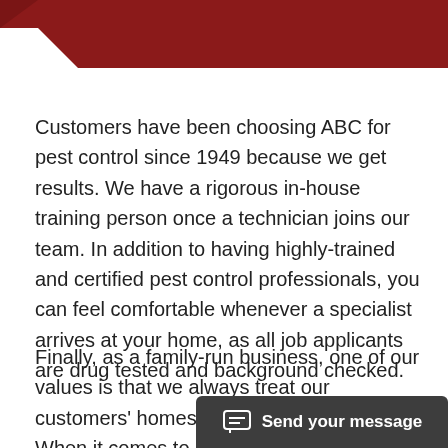[Figure (other): Dark red/maroon header banner with diagonal cut on bottom-left corner]
Customers have been choosing ABC for pest control since 1949 because we get results. We have a rigorous in-house training person once a technician joins our team. In addition to having highly-trained and certified pest control professionals, you can feel comfortable whenever a specialist arrives at your home, as all job applicants are drug tested and background checked.
Finally, as a family-run business, one of our values is that we always treat our customers' homes as if they were our own. When it comes to pest control, Grand Prairie homeowners know they can count on ABC for friendly attentive service.
[Figure (other): Chat button overlay at bottom right reading 'Send your message' with chat icon on dark gray background]